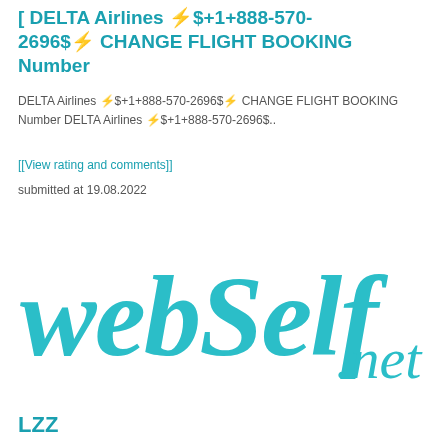[ DELTA Airlines ⚡$+1+888-570-2696$⚡ CHANGE FLIGHT BOOKING Number
DELTA Airlines ⚡$+1+888-570-2696$⚡ CHANGE FLIGHT BOOKING Number DELTA Airlines ⚡$+1+888-570-2696$..
[[View rating and comments]]
submitted at 19.08.2022
[Figure (logo): WebSelf.net logo in teal/turquoise cursive lettering]
LZZ